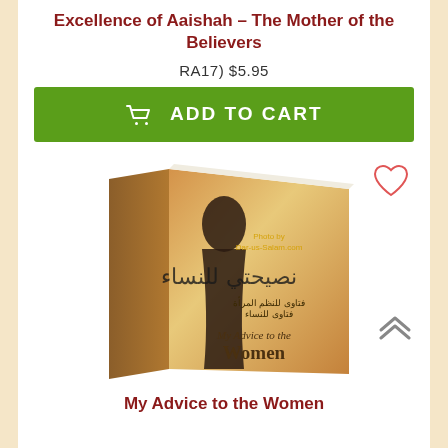Excellence of Aaishah – The Mother of the Believers
RA17) $5.95
ADD TO CART
[Figure (photo): Book cover of 'My Advice to the Women' showing a woman in black silhouette against a floral background with Arabic text and English subtitle 'My Advice to the Women'. Watermark reads 'Photo by Dar-us-Salam.com'. Heart/wishlist icon and up-arrow navigation icon visible.]
My Advice to the Women